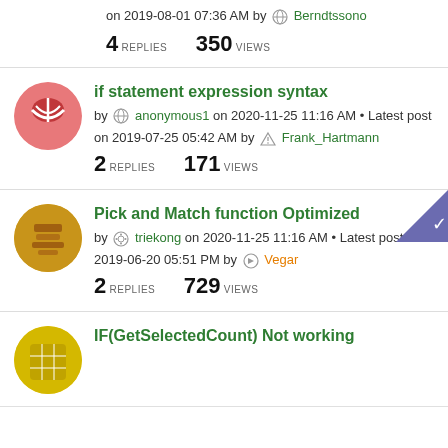on 2019-08-01 07:36 AM by Berndtssono
4 REPLIES   350 VIEWS
if statement expression syntax
by anonymous1 on 2020-11-25 11:16 AM • Latest post on 2019-07-25 05:42 AM by Frank_Hartmann
2 REPLIES   171 VIEWS
Pick and Match function Optimized
by triekong on 2020-11-25 11:16 AM • Latest post on 2019-06-20 05:51 PM by Vegar
2 REPLIES   729 VIEWS
IF(GetSelectedCount) Not working